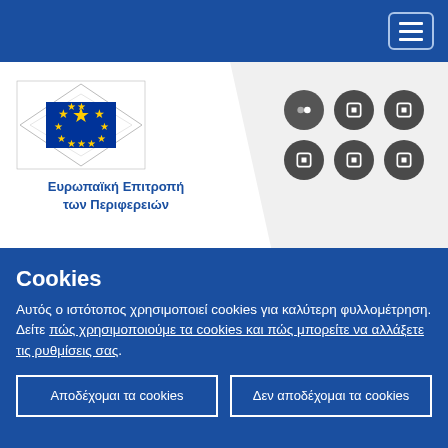Navigation bar with hamburger menu
[Figure (logo): European Committee of the Regions logo with EU flag emblem and text 'Ευρωπαϊκή Επιτροπή των Περιφερειών']
[Figure (infographic): Grid of 6 dark social media icons (Flickr, and 5 others) and bottom links for Κέντρο ΜΜΕ and Επικοινωνία]
Βρίσκεστε εδώ > 🏠 > Εκδηλώσεις > Multi-level governance for migrant integration - Launch Event of OECD Reports
Cookies
Αυτός ο ιστότοπος χρησιμοποιεί cookies για καλύτερη φυλλομέτρηση. Δείτε πώς χρησιμοποιούμε τα cookies και πώς μπορείτε να αλλάξετε τις ρυθμίσεις σας.
Αποδέχομαι τα cookies
Δεν αποδέχομαι τα cookies